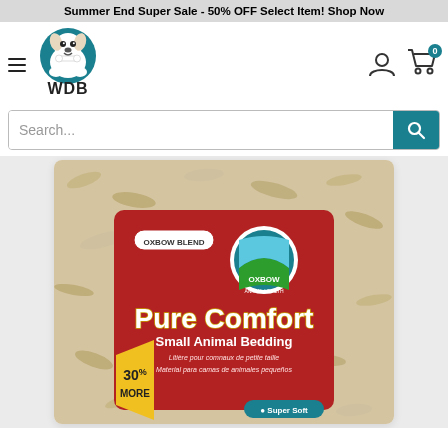Summer End Super Sale - 50% OFF Select Item! Shop Now
[Figure (logo): WDB pet store logo with cartoon dog holding a bone, text WDB below]
[Figure (screenshot): Search bar with placeholder text Search... and teal search button with magnifying glass icon]
[Figure (photo): Oxbow Pure Comfort Small Animal Bedding product package. Red label with Oxbow Animal Health logo, Oxbow Blend badge, text Pure Comfort Small Animal Bedding, 30% More sticker, Super Soft label. Bedding material visible through clear packaging.]